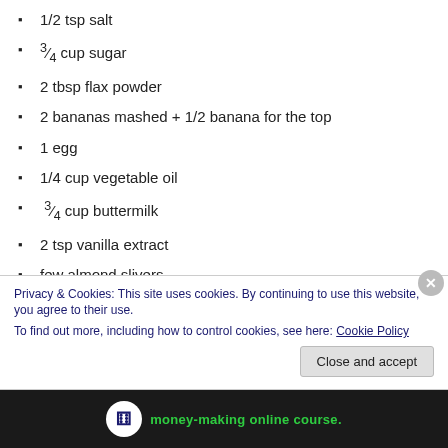1/2 tsp salt
¾ cup sugar
2 tbsp flax powder
2 bananas mashed + 1/2 banana for the top
1 egg
1/4 cup vegetable oil
¾ cup buttermilk
2 tsp vanilla extract
few almond slivers
1. Preheat the oven to 350 ° F. Grease and flour a 8"x5"
Privacy & Cookies: This site uses cookies. By continuing to use this website, you agree to their use.
To find out more, including how to control cookies, see here: Cookie Policy